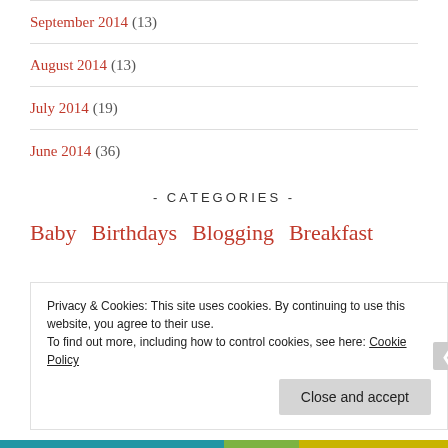September 2014 (13)
August 2014 (13)
July 2014 (19)
June 2014 (36)
- CATEGORIES -
Baby  Birthdays  Blogging  Breakfast
Privacy & Cookies: This site uses cookies. By continuing to use this website, you agree to their use.
To find out more, including how to control cookies, see here: Cookie Policy
Close and accept